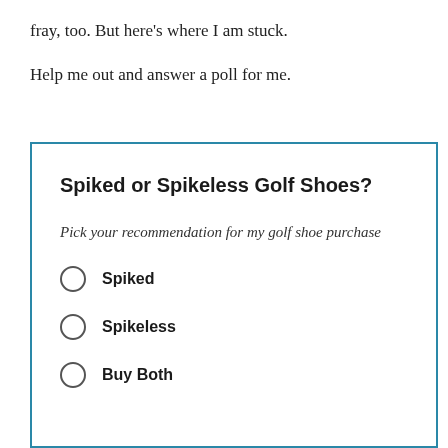fray, too. But here’s where I am stuck.
Help me out and answer a poll for me.
Spiked or Spikeless Golf Shoes?
Pick your recommendation for my golf shoe purchase
Spiked
Spikeless
Buy Both